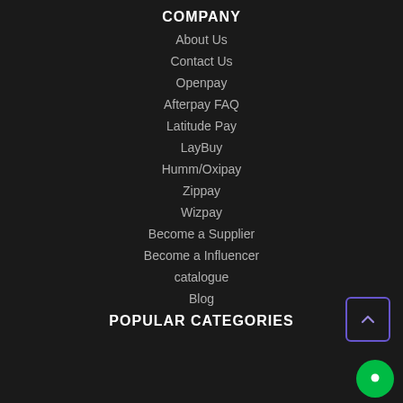COMPANY
About Us
Contact Us
Openpay
Afterpay FAQ
Latitude Pay
LayBuy
Humm/Oxipay
Zippay
Wizpay
Become a Supplier
Become a Influencer
catalogue
Blog
POPULAR CATEGORIES